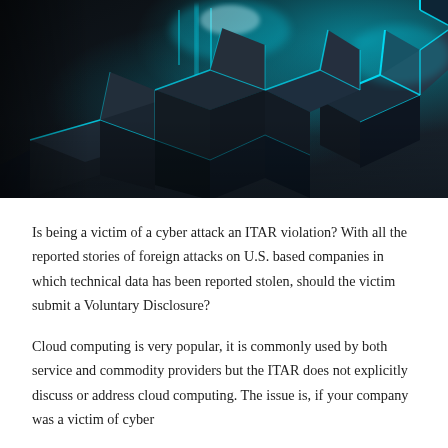[Figure (photo): A dramatic 3D rendered image of dark metallic cube tiles with glowing cyan/teal neon light edges between them, creating a futuristic technology/cyber security visual.]
Is being a victim of a cyber attack an ITAR violation? With all the reported stories of foreign attacks on U.S. based companies in which technical data has been reported stolen, should the victim submit a Voluntary Disclosure?
Cloud computing is very popular, it is commonly used by both service and commodity providers but the ITAR does not explicitly discuss or address cloud computing. The issue is, if your company was a victim of cyber